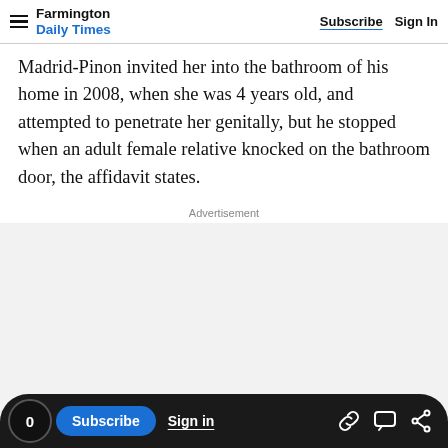Farmington Daily Times | Subscribe  Sign In
Madrid-Pinon invited her into the bathroom of his home in 2008, when she was 4 years old, and attempted to penetrate her genitally, but he stopped when an adult female relative knocked on the bathroom door, the affidavit states.
Advertisement
[Figure (other): Grey advertisement placeholder area]
0  Subscribe  Sign in